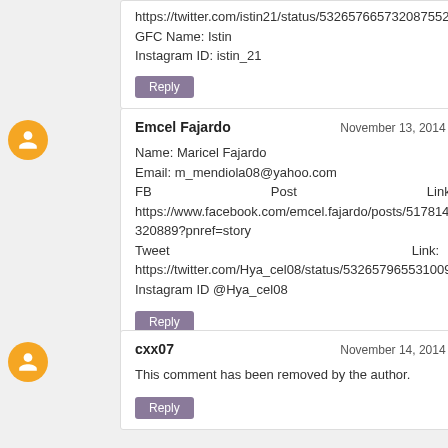https://twitter.com/istin21/status/532657665732087552
GFC Name: Istin
Instagram ID: istin_21
Reply
Emcel Fajardo — November 13, 2014 at 8:26 PM
Name: Maricel Fajardo
Email: m_mendiola08@yahoo.com
FB Post Link: https://www.facebook.com/emcel.fajardo/posts/517814268320889?pnref=story
Tweet Link: https://twitter.com/Hya_cel08/status/532657965531009024
Instagram ID @Hya_cel08
Reply
cxx07 — November 14, 2014 at 4:58 PM
This comment has been removed by the author.
Reply